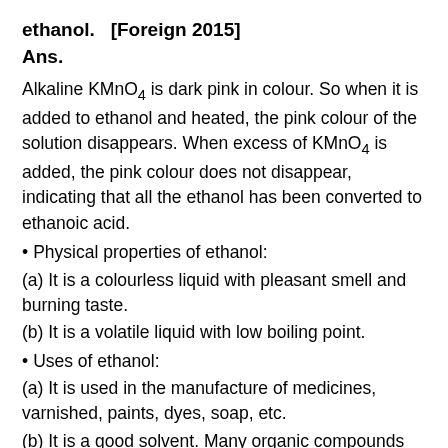ethanol.  [Foreign 2015]
Ans.
Alkaline KMnO4 is dark pink in colour. So when it is added to ethanol and heated, the pink colour of the solution disappears. When excess of KMnO4 is added, the pink colour does not disappear, indicating that all the ethanol has been converted to ethanoic acid.
Physical properties of ethanol:
(a) It is a colourless liquid with pleasant smell and burning taste.
(b) It is a volatile liquid with low boiling point.
Uses of ethanol:
(a) It is used in the manufacture of medicines, varnished, paints, dyes, soap, etc.
(b) It is a good solvent. Many organic compounds